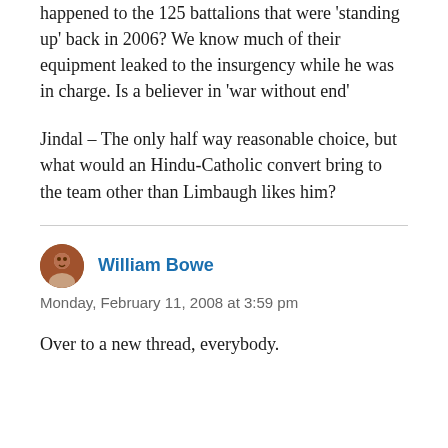happened to the 125 battalions that were 'standing up' back in 2006? We know much of their equipment leaked to the insurgency while he was in charge. Is a believer in 'war without end'
Jindal – The only half way reasonable choice, but what would an Hindu-Catholic convert bring to the team other than Limbaugh likes him?
William Bowe
Monday, February 11, 2008 at 3:59 pm
Over to a new thread, everybody.